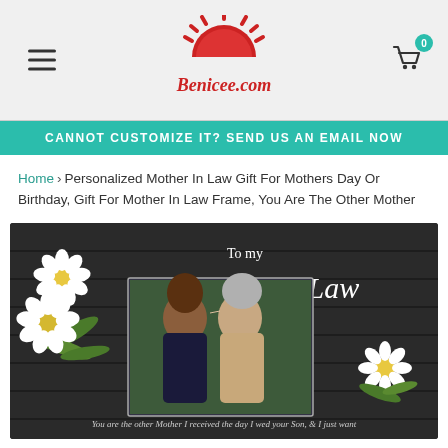[Figure (logo): Benicee.com logo with red sun/gear icon and red script text on light gray header background]
CANNOT CUSTOMIZE IT? SEND US AN EMAIL NOW
Home › Personalized Mother In Law Gift For Mothers Day Or Birthday, Gift For Mother In Law Frame, You Are The Other Mother
[Figure (photo): Product photo: dark wood plank background with white daisy flowers, text 'To my Mother in Law' in script, a photo frame showing two women kissing cheeks (younger brunette and older gray-haired woman with glasses), and text 'You are the other Mother I received the day I wed your Son, & I just want']